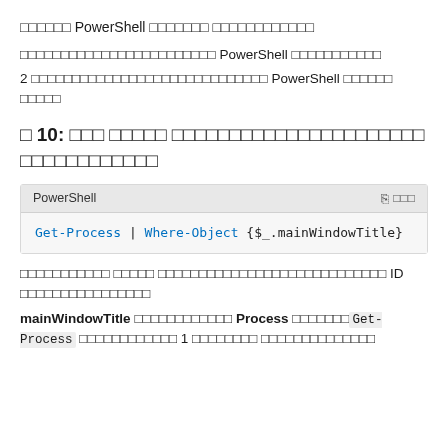□□□□□□ PowerShell □□□□□□□ □□□□□□□□□□□□
□□□□□□□□□□□□□□□□□□□□□□□□ PowerShell □□□□□□□□□□□
2 □□□□□□□□□□□□□□□□□□□□□□□□□□□□□ PowerShell □□□□□□ □□□□□
□ 10: □□□ □□□□□ □□□□□□□□□□□□□□□□□□□□□□ □□□□□□□□□□□□
[Figure (screenshot): PowerShell code block showing: Get-Process | Where-Object {$_.mainWindowTitle}]
□□□□□□□□□□□ □□□□□ □□□□□□□□□□□□□□□□□□□□□□□□□□□□ ID □□□□□□□□□□□□□□□□
mainWindowTitle □□□□□□□□□□□□ Process □□□□□□□ Get-Process □□□□□□□□□□□□ 1 □□□□□□□□ □□□□□□□□□□□□□□